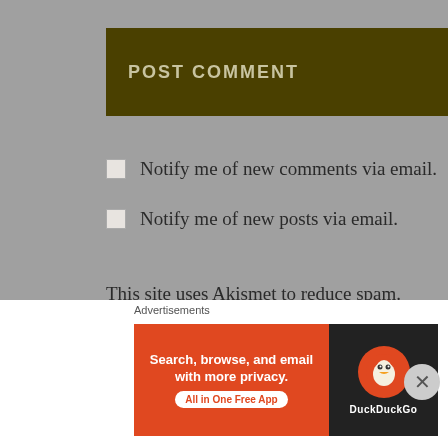POST COMMENT
Notify me of new comments via email.
Notify me of new posts via email.
This site uses Akismet to reduce spam. Learn how your comment data is processed.
EMAIL SUBSCRIPTION
Advertisements
[Figure (other): DuckDuckGo advertisement banner: Search, browse, and email with more privacy. All in One Free App. Shows DuckDuckGo logo on dark background.]